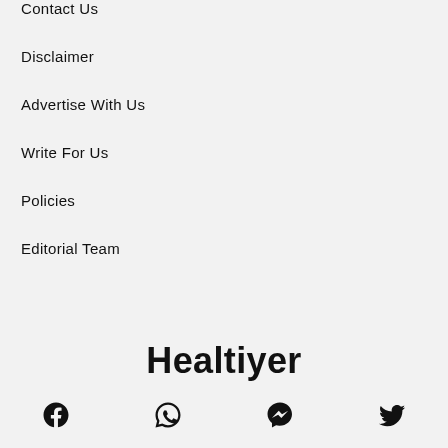Contact Us
Disclaimer
Advertise With Us
Write For Us
Policies
Editorial Team
Healtiyer
[Figure (illustration): Four social media icons: Facebook, WhatsApp, Messenger, Twitter]